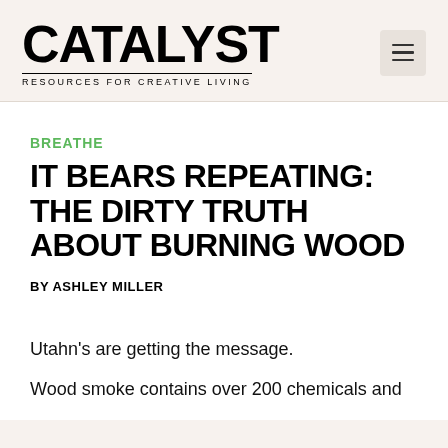CATALYST RESOURCES FOR CREATIVE LIVING
BREATHE
IT BEARS REPEATING: THE DIRTY TRUTH ABOUT BURNING WOOD
BY ASHLEY MILLER
Utahn's are getting the message.
Wood smoke contains over 200 chemicals and